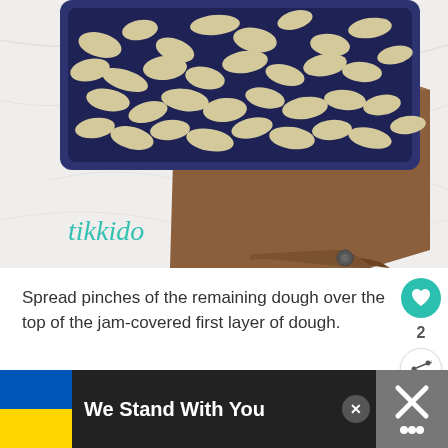[Figure (photo): Overhead photo of a dark navy blue baking pan filled with crumbled dough topping, sitting on a wooden cutting board with a handle, on a white marble surface. The brand watermark 'tikkido' in teal cursive appears in the lower left of the image.]
Spread pinches of the remaining dough over the top of the jam-covered first layer of dough.
[Figure (infographic): Advertisement banner: black background with Ukrainian flag (blue and yellow), text 'We Stand With You', a close button X, and a logo on the right.]